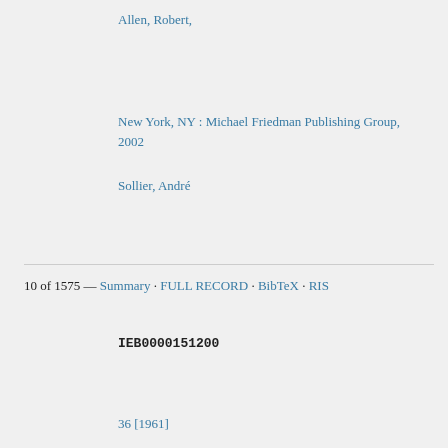Allen, Robert,
New York, NY : Michael Friedman Publishing Group, 2002
Sollier, André
10 of 1575 — Summary · FULL RECORD · BibTeX · RIS
IEB0000151200
36 [1961]